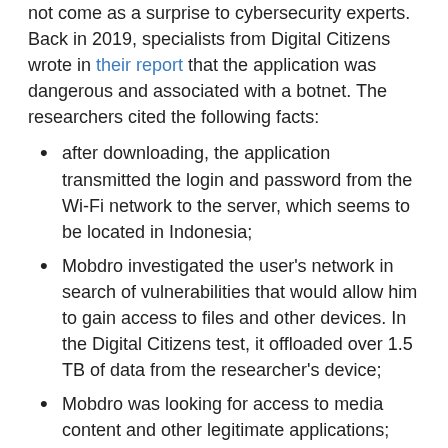not come as a surprise to cybersecurity experts. Back in 2019, specialists from Digital Citizens wrote in their report that the application was dangerous and associated with a botnet. The researchers cited the following facts:
after downloading, the application transmitted the login and password from the Wi-Fi network to the server, which seems to be located in Indonesia;
Mobdro investigated the user's network in search of vulnerabilities that would allow him to gain access to files and other devices. In the Digital Citizens test, it offloaded over 1.5 TB of data from the researcher's device;
Mobdro was looking for access to media content and other legitimate applications;
criminals impersonate well-known streaming sites such as Netflix, making it easier for themselves to access the legitimate subscription of a real user.
Let me remind that Google removes 17 Android apps with